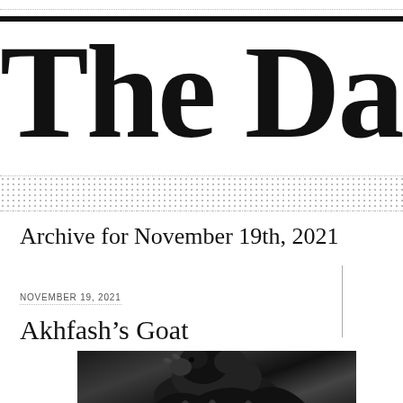The Dai
Archive for November 19th, 2021
NOVEMBER 19, 2021
Akhfash's Goat
[Figure (photo): Black and white illustration/photo of a goat, partially cropped at bottom of page]